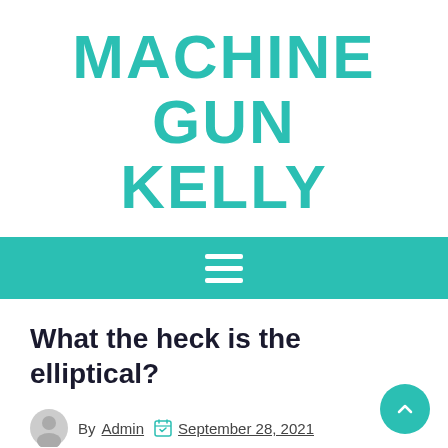MACHINE GUN KELLY
What the heck is the elliptical?
By Admin  September 28, 2021